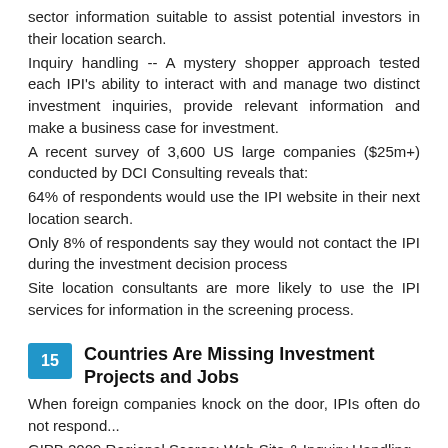sector information suitable to assist potential investors in their location search.
Inquiry handling -- A mystery shopper approach tested each IPI's ability to interact with and manage two distinct investment inquiries, provide relevant information and make a business case for investment.
A recent survey of 3,600 US large companies ($25m+) conducted by DCI Consulting reveals that:
64% of respondents would use the IPI website in their next location search.
Only 8% of respondents say they would not contact the IPI during the investment decision process
Site location consultants are more likely to use the IPI services for information in the screening process.
15 Countries Are Missing Investment Projects and Jobs
When foreign companies knock on the door, IPIs often do not respond...
GIPB 2009 Regional Scores: Web Site & Inquiry Handling
The Pacific1
37%